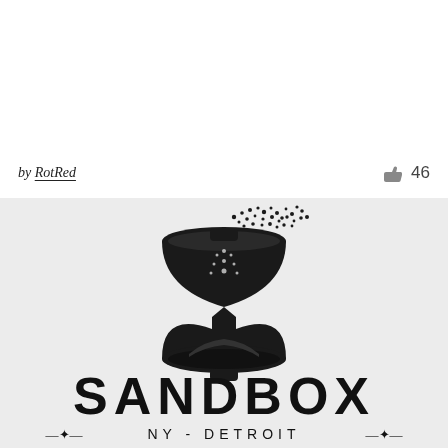[Figure (illustration): Top white section, partially shown image area above the fold]
by RotRed  👍 46
[Figure (logo): Sandbox NY Detroit logo featuring an hourglass illustration with sand particles floating above, and bold distressed lettering reading SANDBOX with NY - DETROIT below, flanked by decorative arrow ornaments]